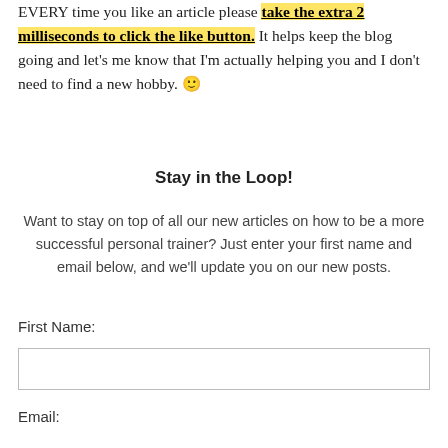EVERY time you like an article please take the extra 2 milliseconds to click the like button. It helps keep the blog going and let’s me know that I’m actually helping you and I don’t need to find a new hobby. 🙂
Stay in the Loop!
Want to stay on top of all our new articles on how to be a more successful personal trainer? Just enter your first name and email below, and we’ll update you on our new posts.
First Name:
Email: